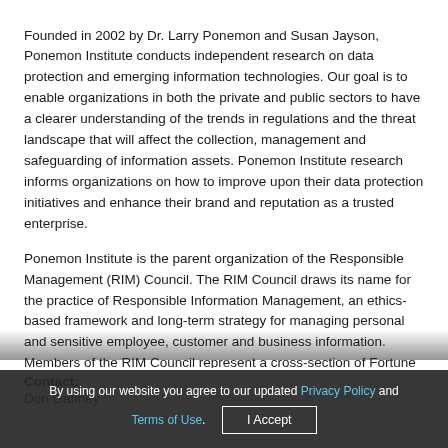Founded in 2002 by Dr. Larry Ponemon and Susan Jayson, Ponemon Institute conducts independent research on data protection and emerging information technologies. Our goal is to enable organizations in both the private and public sectors to have a clearer understanding of the trends in regulations and the threat landscape that will affect the collection, management and safeguarding of information assets. Ponemon Institute research informs organizations on how to improve upon their data protection initiatives and enhance their brand and reputation as a trusted enterprise.
Ponemon Institute is the parent organization of the Responsible Management (RIM) Council. The RIM Council draws its name for the practice of Responsible Information Management, an ethics-based framework and long-term strategy for managing personal and sensitive employee, customer and business information. Members of the RIM Council represent a cross-section of Fortune 500 companies and are champions of responsible data protection in...
Contact:
Don Gaffney